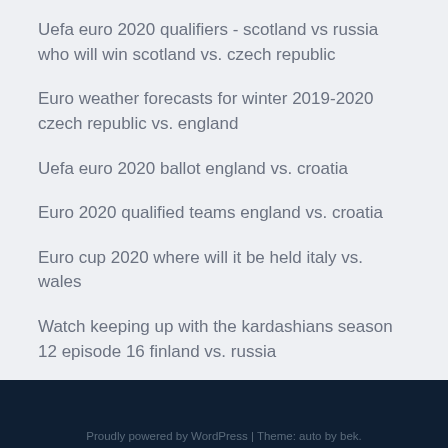Uefa euro 2020 qualifiers - scotland vs russia who will win scotland vs. czech republic
Euro weather forecasts for winter 2019-2020 czech republic vs. england
Uefa euro 2020 ballot england vs. croatia
Euro 2020 qualified teams england vs. croatia
Euro cup 2020 where will it be held italy vs. wales
Watch keeping up with the kardashians season 12 episode 16 finland vs. russia
Euro 2020 best seats portugal vs. france
Proudly powered by WordPress | Theme: auto by bek.